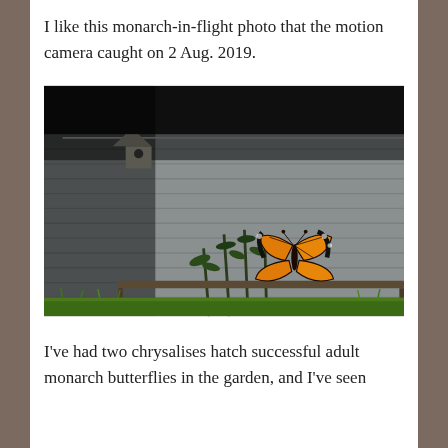I like this monarch-in-flight photo that the motion camera caught on 2 Aug. 2019.
[Figure (photo): Monarch butterfly in flight captured by a motion camera on 2 Aug. 2019. The butterfly is orange and black, shown mid-flight in front of a white clapboard building/shed. Plants/milkweed grow near the base of the wall. A birdhouse is mounted on the wall. Green grass is visible at the bottom. The scene is mostly dark/shadowed.]
I've had two chrysalises hatch successful adult monarch butterflies in the garden, and I've seen